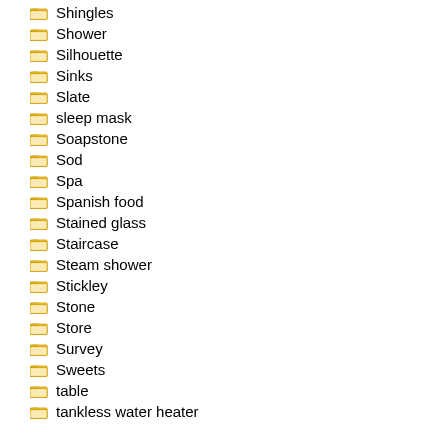Shingles
Shower
Silhouette
Sinks
Slate
sleep mask
Soapstone
Sod
Spa
Spanish food
Stained glass
Staircase
Steam shower
Stickley
Stone
Store
Survey
Sweets
table
tankless water heater